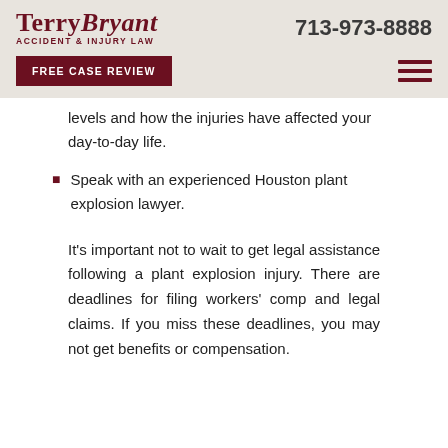TerryBryant ACCIDENT & INJURY LAW | 713-973-8888
FREE CASE REVIEW
levels and how the injuries have affected your day-to-day life.
Speak with an experienced Houston plant explosion lawyer.
It's important not to wait to get legal assistance following a plant explosion injury. There are deadlines for filing workers' comp and legal claims. If you miss these deadlines, you may not get benefits or compensation.